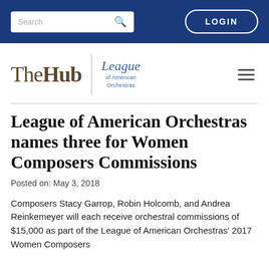Search | LOGIN
[Figure (logo): The Hub | League of American Orchestras logo with hamburger menu]
League of American Orchestras names three for Women Composers Commissions
Posted on: May 3, 2018
Composers Stacy Garrop, Robin Holcomb, and Andrea Reinkemeyer will each receive orchestral commissions of $15,000 as part of the League of American Orchestras' 2017 Women Composers...